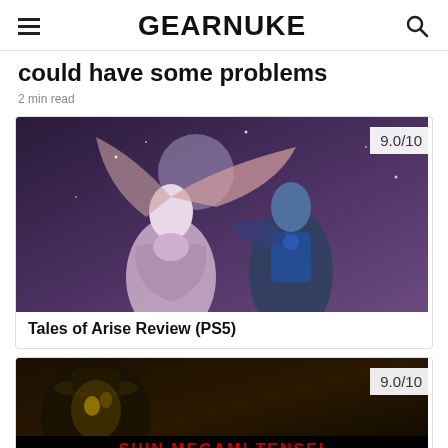GEARNUKE
could have some problems
2 min read
[Figure (screenshot): Tales of Arise game artwork showing two anime-style characters with a score badge of 9.0/10]
Tales of Arise Review (PS5)
[Figure (screenshot): Shin Megami Tensei game artwork with a character in shadow and red logo text, score badge 9.0/10]